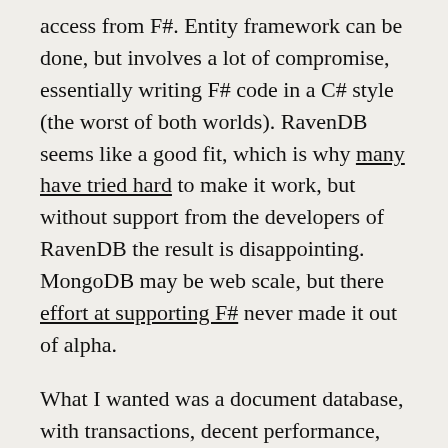access from F#. Entity framework can be done, but involves a lot of compromise, essentially writing F# code in a C# style (the worst of both worlds). RavenDB seems like a good fit, which is why many have tried hard to make it work, but without support from the developers of RavenDB the result is disappointing. MongoDB may be web scale, but there effort at supporting F# never made it out of alpha.
What I wanted was a document database, with transactions, decent performance, simple querying and powerful indexes. I could not find one.
Resolution